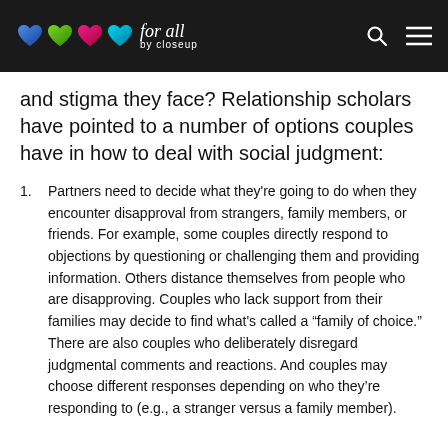Love for all by closeup
and stigma they face? Relationship scholars have pointed to a number of options couples have in how to deal with social judgment:
Partners need to decide what they're going to do when they encounter disapproval from strangers, family members, or friends. For example, some couples directly respond to objections by questioning or challenging them and providing information. Others distance themselves from people who are disapproving. Couples who lack support from their families may decide to find what's called a “family of choice.” There are also couples who deliberately disregard judgmental comments and reactions. And couples may choose different responses depending on who they’re responding to (e.g., a stranger versus a family member).